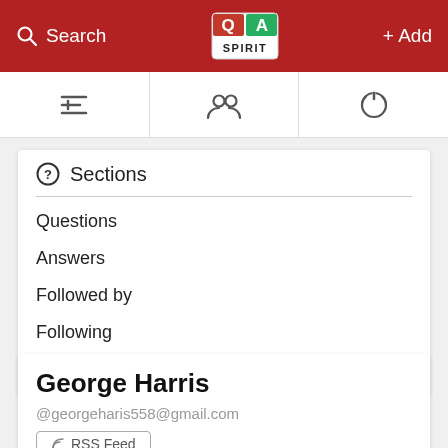Search   QA SPIRIT   + Add
[Figure (screenshot): Navigation bar with list icon, user icon, and power icon]
Sections
Questions
Answers
Followed by
Following
Points (0)
George Harris
@georgeharis558@gmail.com
RSS Feed